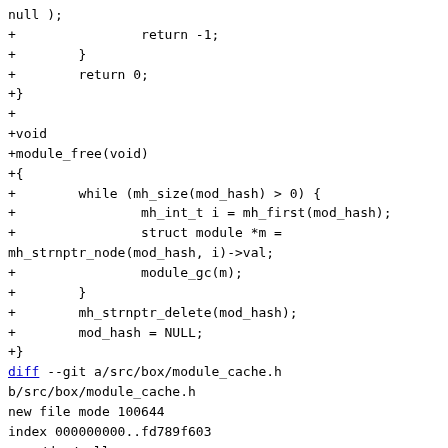null );
+                return -1;
+        }
+        return 0;
+}
+
+void
+module_free(void)
+{
+        while (mh_size(mod_hash) > 0) {
+                mh_int_t i = mh_first(mod_hash);
+                struct module *m =
mh_strnptr_node(mod_hash, i)->val;
+                module_gc(m);
+        }
+        mh_strnptr_delete(mod_hash);
+        mod_hash = NULL;
+}
diff --git a/src/box/module_cache.h
b/src/box/module_cache.h
new file mode 100644
index 000000000..fd789f603
--- /dev/null
+++ b/src/box/module_cache.h
@@ -0,0 +1,139 @@
+/*
+ * SPDX-License-Identifier: BSD-2-Clause
+ *
+ * Copyright 2010-2021, Tarantool AUTHORS, please see
AUTHORS file.
+ */